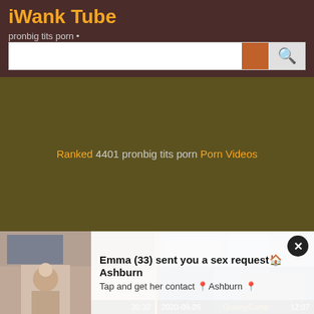iWank Tube
pronbig tits porn •
Ranked 4401 pronbig tits porn Porn Videos
[Figure (screenshot): Video thumbnail left - date 2020-09-30, duration 30:32]
[Figure (screenshot): Video thumbnail right - date 2020-09-26, source GrannyCome, duration 12:07]
Emma (33) sent you a sex request in Ashburn
Tap and get her contact in Ashburn